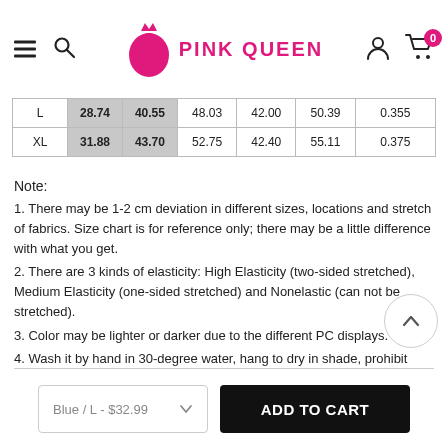PINK QUEEN
| L | 28.74 | 40.55 | 48.03 | 42.00 | 50.39 | 0.355 |
| XL | 31.88 | 43.70 | 52.75 | 42.40 | 55.11 | 0.375 |
Note:
1. There may be 1-2 cm deviation in different sizes, locations and stretch of fabrics. Size chart is for reference only; there may be a little difference with what you get.
2. There are 3 kinds of elasticity: High Elasticity (two-sided stretched), Medium Elasticity (one-sided stretched) and Nonelastic (can not be stretched).
3. Color may be lighter or darker due to the different PC displays.
4. Wash it by hand in 30-degree water, hang to dry in shade, prohibit bleaching.
Blue / L - $32.99
ADD TO CART